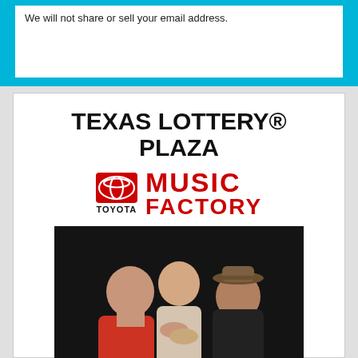We will not share or sell your email address.
TEXAS LOTTERY® PLAZA
[Figure (logo): Toyota Music Factory logo with Toyota emblem and red text reading MUSIC FACTORY]
[Figure (photo): Photo of three men, band Super Kilo, dark background]
SUPER KILO
[Figure (photo): Partial photo of a person's head, cropped at bottom of page]